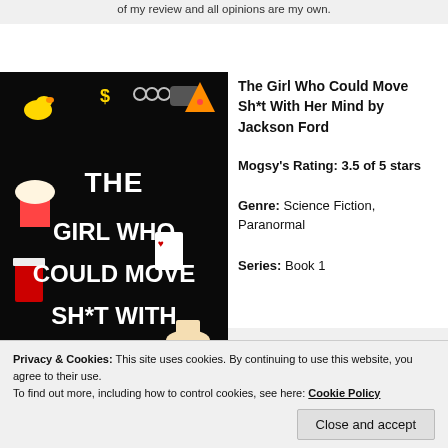of my review and all opinions are my own.
[Figure (illustration): Book cover of 'The Girl Who Could Move Sh*t With Her Mind' by Jackson Ford. Black background with colorful floating objects (rubber duck, dollar sign, pizza, popcorn, playing cards, etc.) and bold white title text.]
The Girl Who Could Move Sh*t With Her Mind by Jackson Ford
Mogsy's Rating: 3.5 of 5 stars
Genre: Science Fiction, Paranormal
Series: Book 1
Privacy & Cookies: This site uses cookies. By continuing to use this website, you agree to their use.
To find out more, including how to control cookies, see here: Cookie Policy